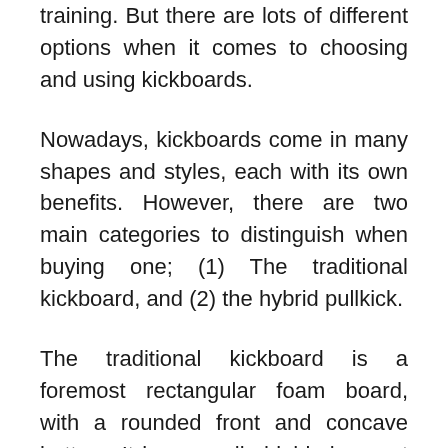training. But there are lots of different options when it comes to choosing and using kickboards.
Nowadays, kickboards come in many shapes and styles, each with its own benefits. However, there are two main categories to distinguish when buying one; (1) The traditional kickboard, and (2) the hybrid pullkick.
The traditional kickboard is a foremost rectangular foam board, with a rounded front and concave bottom. It is generally highly buoyant and quite rigid. Better kickboards allow for various grip positions that influence hydrodynamic and promote a streamlined body position. Kickboards